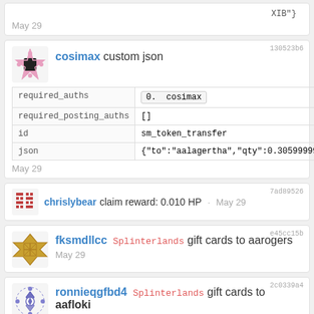XIB"}
May 29
130523b6
cosimax custom json
| field | value |
| --- | --- |
| required_auths | 0. cosimax |
| required_posting_auths | [] |
| id | sm_token_transfer |
| json | {"to":"aalagertha","qty":0.30599999999999974,"token":"DEC"} |
May 29
7ad89526
chrislybear claim reward: 0.010 HP · May 29
e45cc15b
fksmdllcc Splinterlands gift cards to aarogers
May 29
2c0339a4
ronnieqgfbd4 Splinterlands gift cards to aafloki
May 29
2fbaeb0a
sfuhej Splinterlands started a daily